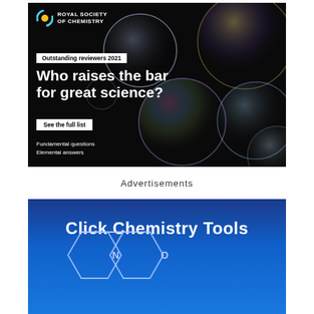[Figure (illustration): Royal Society of Chemistry advertisement for Outstanding Reviewers 2021. Dark background with colorful iridescent soap bubbles. Text: 'Outstanding reviewers 2021', 'Who raises the bar for great science?', 'See the full list', 'Fundamental questions', 'Elemental answers'. RSC logo top-left.]
Advertisements
[Figure (illustration): Click Chemistry Tools advertisement. Blue gradient background. White text 'Click Chemistry Tools' at top. White line-art chemical structure (bicyclo ring system with N and O atoms) at bottom.]